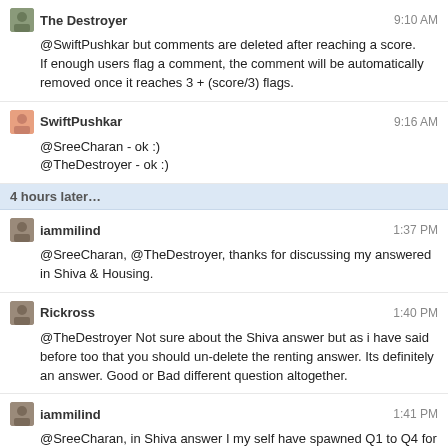The Destroyer  9:10 AM
@SwiftPushkar but comments are deleted after reaching a score.
If enough users flag a comment, the comment will be automatically removed once it reaches 3 + (score/3) flags.
SwiftPushkar  9:16 AM
@SreeCharan - ok :)
@TheDestroyer - ok :)
4 hours later...
iammilind  1:37 PM
@SreeCharan, @TheDestroyer, thanks for discussing my answered in Shiva & Housing.
Rickross  1:40 PM
@TheDestroyer Not sure about the Shiva answer but as i have said before too that you should un-delete the renting answer. Its definitely an answer. Good or Bad different question altogether.
iammilind  1:41 PM
@SreeCharan, in Shiva answer I my self have spawned Q1 to Q4 for understanding why Shiva's fulfilling of everyone's wish is practical. We should note that, when a Qn asks "Why", it will mostly generate speculative answers. Where people would differ in their opinions. But from "meta" perspective, we should Not see the correctness or goodness of it. We should only see if it's a spam, plagiarism, comment, off topic or not. If yes delete, else retain it.
Same is true for Housing answer, Class Heirarchy answer, Pornography answer, Butter answer & Octagenerarian answer.
The last 2 are deleted under no-source policy. But IMO they should be deleted only if they are not backed by facts...